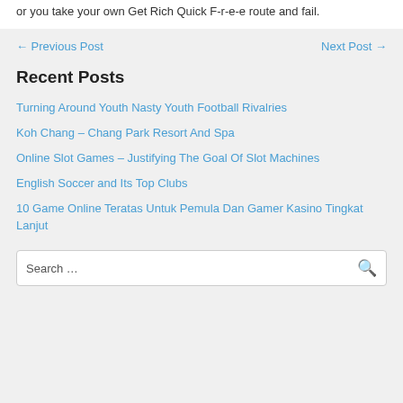or you take your own Get Rich Quick F-r-e-e route and fail.
← Previous Post    Next Post →
Recent Posts
Turning Around Youth Nasty Youth Football Rivalries
Koh Chang – Chang Park Resort And Spa
Online Slot Games – Justifying The Goal Of Slot Machines
English Soccer and Its Top Clubs
10 Game Online Teratas Untuk Pemula Dan Gamer Kasino Tingkat Lanjut
Search …